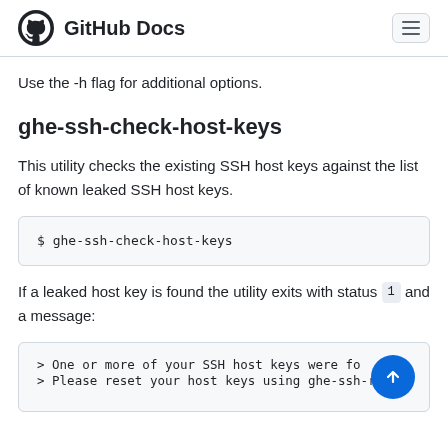GitHub Docs
Use the -h flag for additional options.
ghe-ssh-check-host-keys
This utility checks the existing SSH host keys against the list of known leaked SSH host keys.
$ ghe-ssh-check-host-keys
If a leaked host key is found the utility exits with status 1 and a message:
> One or more of your SSH host keys were fo...n
> Please reset your host keys using ghe-ssh-roll-